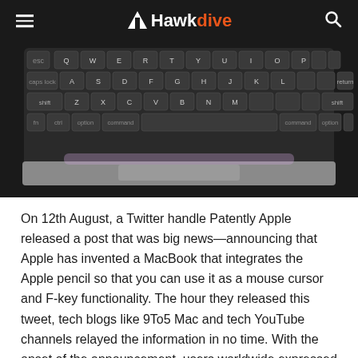Hawkdive
[Figure (photo): Close-up photo of a MacBook keyboard with dark keys on a silver aluminum body, shot from above at a slight angle. Keys visible include Q W E R T Y U I O P, A S D F G H J K L, Z X C V B N M, and bottom row with command, option, control keys and spacebar.]
On 12th August, a Twitter handle Patently Apple released a post that was big news—announcing that Apple has invented a MacBook that integrates the Apple pencil so that you can use it as a mouse cursor and F-key functionality. The hour they released this tweet, tech blogs like 9To5 Mac and tech YouTube channels relayed the information in no time. With the onset of the announcement, users worldwide expressed their opinions both for and against this possible upgrade.